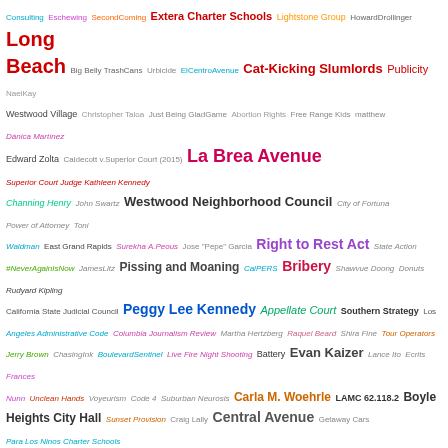[Figure (infographic): A word cloud containing many terms related to Los Angeles civic, legal, and political topics. Terms vary in size, color, and font weight reflecting their relative frequency or importance. Notable large terms include 'Urban Place Consulting', 'North Figueroa Association', 'Peggy Lee Kennedy', 'Santa Monica', 'Catherine Sweetser', 'Baldwin Hills Elementary School', 'Statistics', 'Richard Nixon', 'Long Beach', 'La Brea Avenue', 'Right to Rest Act', 'Bribery', 'Westwood Neighborhood Council', 'Central Avenue', 'Evan Kaizer', 'Carla M. Woehrle', 'University of Southern California', 'Coffee Mugs', 'Assessments', 'Sarah Bell', 'Wedding at Cana', 'In Camera Review', 'East Hollywood', among many smaller terms.]